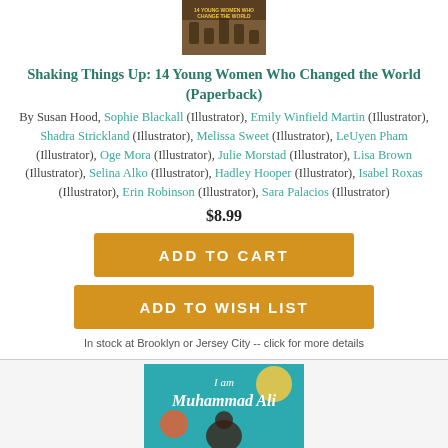[Figure (illustration): Book cover thumbnail for 'Shaking Things Up: 14 Young Women Who Changed the World' at the top of the listing]
Shaking Things Up: 14 Young Women Who Changed the World (Paperback)
By Susan Hood, Sophie Blackall (Illustrator), Emily Winfield Martin (Illustrator), Shadra Strickland (Illustrator), Melissa Sweet (Illustrator), LeUyen Pham (Illustrator), Oge Mora (Illustrator), Julie Morstad (Illustrator), Lisa Brown (Illustrator), Selina Alko (Illustrator), Hadley Hooper (Illustrator), Isabel Roxas (Illustrator), Erin Robinson (Illustrator), Sara Palacios (Illustrator)
$8.99
ADD TO CART
ADD TO WISH LIST
In stock at Brooklyn or Jersey City -- click for more details
[Figure (illustration): Book cover for 'I am Muhammad Ali' shown at the bottom of the page]